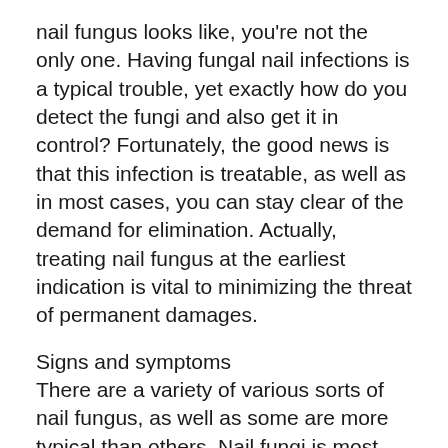nail fungus looks like, you're not the only one. Having fungal nail infections is a typical trouble, yet exactly how do you detect the fungi and also get it in control? Fortunately, the good news is that this infection is treatable, as well as in most cases, you can stay clear of the demand for elimination. Actually, treating nail fungus at the earliest indication is vital to minimizing the threat of permanent damages.
Signs and symptoms
There are a variety of various sorts of nail fungus, as well as some are more typical than others. Nail fungi is most typical on the big nails, which create at the front and sides of the nail. Less commonly, the fungus starts at the base of the nail, which is commonly a